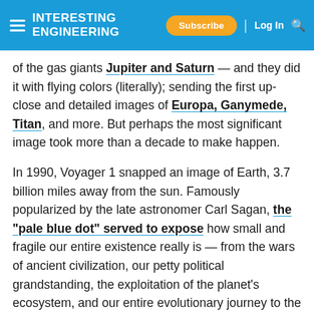INTERESTING ENGINEERING — Subscribe | Log In
of the gas giants Jupiter and Saturn — and they did it with flying colors (literally); sending the first up-close and detailed images of Europa, Ganymede, Titan, and more. But perhaps the most significant image took more than a decade to make happen.
In 1990, Voyager 1 snapped an image of Earth, 3.7 billion miles away from the sun. Famously popularized by the late astronomer Carl Sagan, the "pale blue dot" served to expose how small and fragile our entire existence really is — from the wars of ancient civilization, our petty political grandstanding, the exploitation of the planet's ecosystem, and our entire evolutionary journey to the present day. It was all there, in a tiny blue speck in a seemingly infinite, black, and indifferent universe.